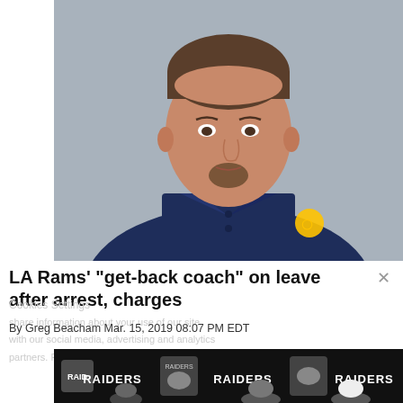[Figure (photo): Headshot of a man wearing a navy blue LA Rams polo shirt with the Rams logo, against a gray background.]
LA Rams' "get-back coach" on leave after arrest, charges
By Greg Beacham Mar. 15, 2019 08:07 PM EDT
[Figure (photo): Partial photo showing Raiders-branded backdrop with multiple RAIDERS logos and people at what appears to be a press conference.]